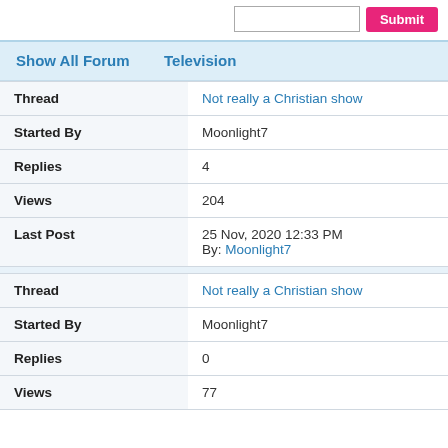Submit (button)
Show All Forum   Television
| Field | Value |
| --- | --- |
| Thread | Not really a Christian show |
| Started By | Moonlight7 |
| Replies | 4 |
| Views | 204 |
| Last Post | 25 Nov, 2020 12:33 PM
By: Moonlight7 |
| Thread | Not really a Christian show |
| Started By | Moonlight7 |
| Replies | 0 |
| Views | 77 |